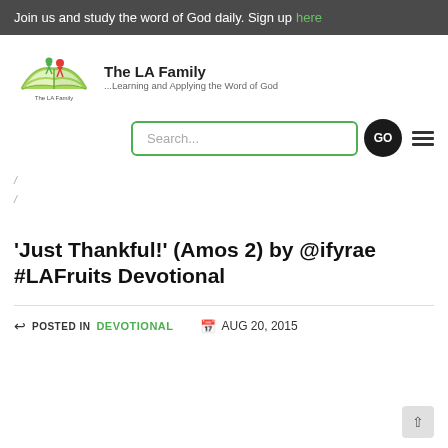Join us and study the word of God daily. Sign up here
[Figure (logo): The LA Family logo - open book with green and red figures above it, text 'The LA Family' and tagline '...Learning and Applying the Word of God']
Search...
/
/
'Just Thankful!' (Amos 2) by @ifyrae #LAFruits Devotional
POSTED IN DEVOTIONAL  AUG 20, 2015